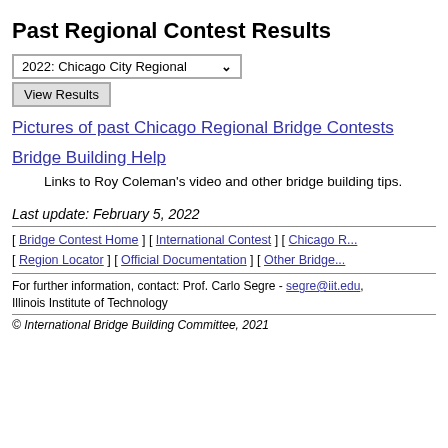Past Regional Contest Results
2022: Chicago City Regional [dropdown] View Results
Pictures of past Chicago Regional Bridge Contests
Bridge Building Help
Links to Roy Coleman's video and other bridge building tips.
Last update: February 5, 2022
[ Bridge Contest Home ] [ International Contest ] [ Chicago R... ] [ Region Locator ] [ Official Documentation ] [ Other Bridge...
For further information, contact: Prof. Carlo Segre - segre@iit.edu, Illinois Institute of Technology
© International Bridge Building Committee, 2021